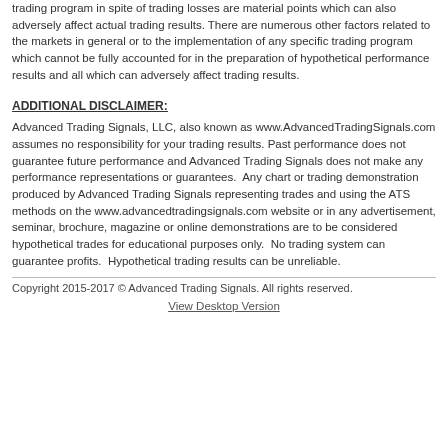trading program in spite of trading losses are material points which can also adversely affect actual trading results. There are numerous other factors related to the markets in general or to the implementation of any specific trading program which cannot be fully accounted for in the preparation of hypothetical performance results and all which can adversely affect trading results.
ADDITIONAL DISCLAIMER:
Advanced Trading Signals, LLC, also known as www.AdvancedTradingSignals.com assumes no responsibility for your trading results. Past performance does not guarantee future performance and Advanced Trading Signals does not make any performance representations or guarantees.  Any chart or trading demonstration produced by Advanced Trading Signals representing trades and using the ATS methods on the www.advancedtradingsignals.com website or in any advertisement, seminar, brochure, magazine or online demonstrations are to be considered hypothetical trades for educational purposes only.  No trading system can guarantee profits.  Hypothetical trading results can be unreliable.
Copyright 2015-2017 © Advanced Trading Signals. All rights reserved.
View Desktop Version